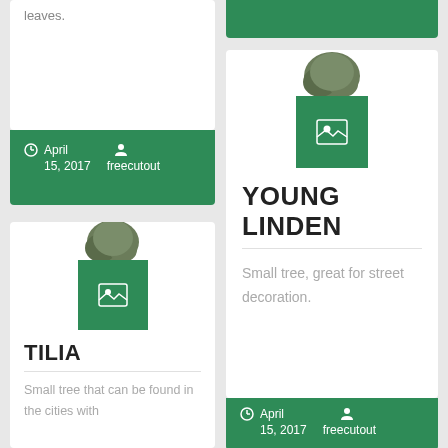leaves.
April 15, 2017   freecutout
[Figure (illustration): Small tree illustration above a green square with image placeholder icon — Tilia card]
TILIA
Small tree that can be found in the cities with
[Figure (illustration): Small tree illustration above a green square with image placeholder icon — Young Linden card]
YOUNG LINDEN
Small tree, great for street decoration.
April 15, 2017   freecutout